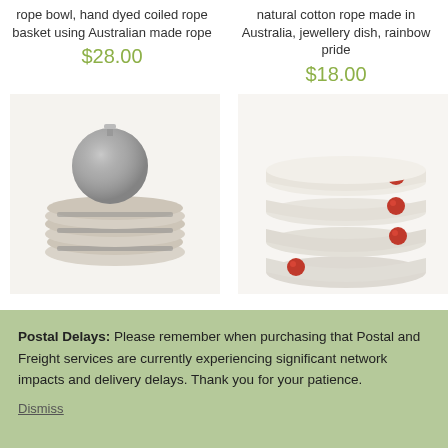rope bowl, hand dyed coiled rope basket using Australian made rope
natural cotton rope made in Australia, jewellery dish, rainbow pride
$28.00
$18.00
[Figure (photo): Stack of coiled rope trivets/coasters with a grey glitter ornament ball on top]
[Figure (photo): Stack of four small white coiled rope bowls each with a red gemstone embellishment]
Postal Delays: Please remember when purchasing that Postal and Freight services are currently experiencing significant network impacts and delivery delays. Thank you for your patience.
Dismiss